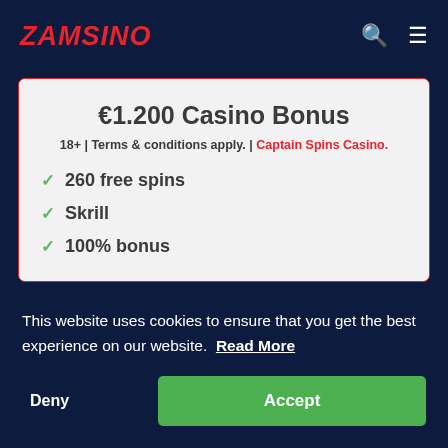ZAMSINO
€1.200 Casino Bonus
18+ | Terms & conditions apply. | Captain Spins Casino.
✓ 260 free spins
✓ Skrill
✓ 100% bonus
This website uses cookies to ensure that you get the best experience on our website. Read More
Deny
Accept